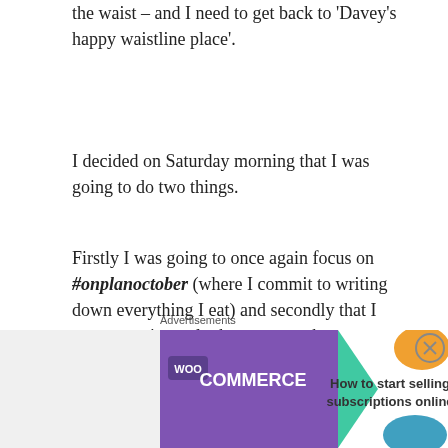the waist – and I need to get back to 'Davey's happy waistline place'.
I decided on Saturday morning that I was going to do two things.
Firstly I was going to once again focus on #onplanoctober (where I commit to writing down everything I eat) and secondly that I was not going to look at any numbers on any scales until I absolutely needed to weigh in again as a target member.
I have been nailing myself into the floor with
Advertisements
[Figure (other): WooCommerce advertisement banner: purple WooCommerce logo on left with teal arrow, text 'How to start selling subscriptions online' on right with orange and blue decorative shapes. Close button (X in circle) on top right.]